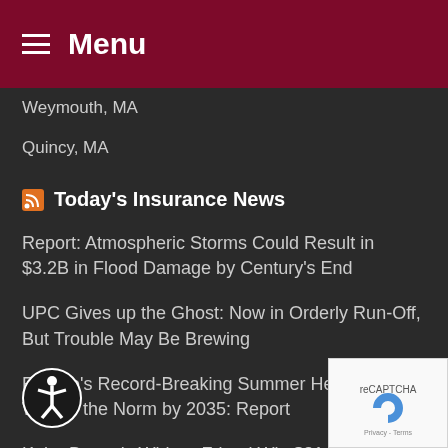Menu
Weymouth, MA
Quincy, MA
Today's Insurance News
Report: Atmospheric Storms Could Result in $3.2B in Flood Damage by Century's End
UPC Gives up the Ghost: Now in Orderly Run-Off, But Trouble May Be Brewing
Europe's Record-Breaking Summer Heat Wave Will Be the Norm by 2035: Report
Kobe Bryant's Widow, Friend Win $31 Million in Trial Over Leaked Photos
With a Few Exceptions, Personal